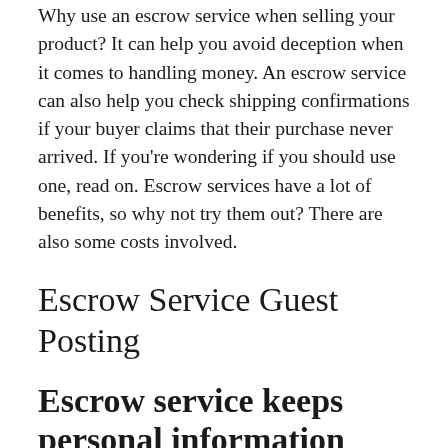Why use an escrow service when selling your product? It can help you avoid deception when it comes to handling money. An escrow service can also help you check shipping confirmations if your buyer claims that their purchase never arrived. If you're wondering if you should use one, read on. Escrow services have a lot of benefits, so why not try them out? There are also some costs involved.
Escrow Service Guest Posting
Escrow service keeps personal information secure